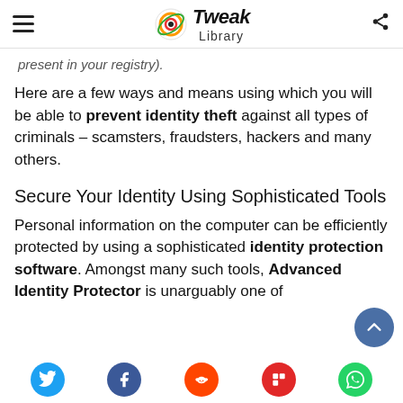Tweak Library
present in your registry).
Here are a few ways and means using which you will be able to prevent identity theft against all types of criminals – scamsters, fraudsters, hackers and many others.
Secure Your Identity Using Sophisticated Tools
Personal information on the computer can be efficiently protected by using a sophisticated identity protection software. Amongst many such tools, Advanced Identity Protector is unarguably one of
Social share buttons: Twitter, Facebook, Reddit, Flipboard, WhatsApp